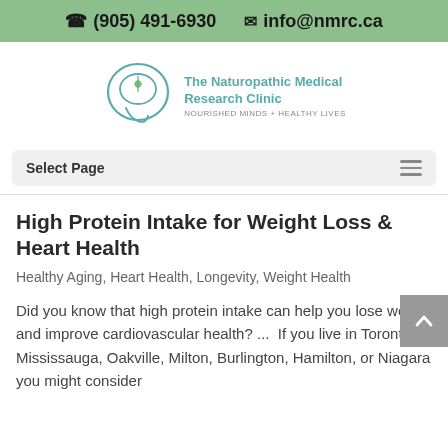☎ (905) 491-6930   ✉ info@nmrc.ca
[Figure (logo): The Naturopathic Medical Research Clinic logo with teal brain/leaf icon and text: The Naturopathic Medical Research Clinic — NOURISHED MINDS + HEALTHY LIVES]
Select Page
High Protein Intake for Weight Loss & Heart Health
Healthy Aging, Heart Health, Longevity, Weight Health
Did you know that high protein intake can help you lose weight and improve cardiovascular health? ...  If you live in Toronto, Mississauga, Oakville, Milton, Burlington, Hamilton, or Niagara you might consider